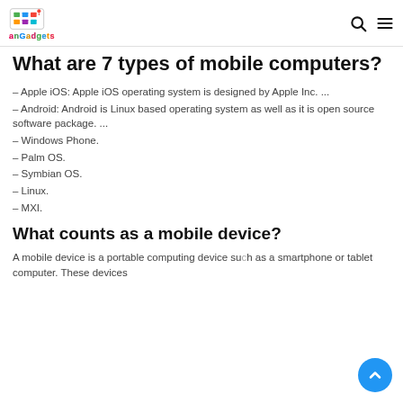anGadgets
What are 7 types of mobile computers?
– Apple iOS: Apple iOS operating system is designed by Apple Inc. ...
– Android: Android is Linux based operating system as well as it is open source software package. ...
– Windows Phone.
– Palm OS.
– Symbian OS.
– Linux.
– MXI.
What counts as a mobile device?
A mobile device is a portable computing device such as a smartphone or tablet computer. These devices